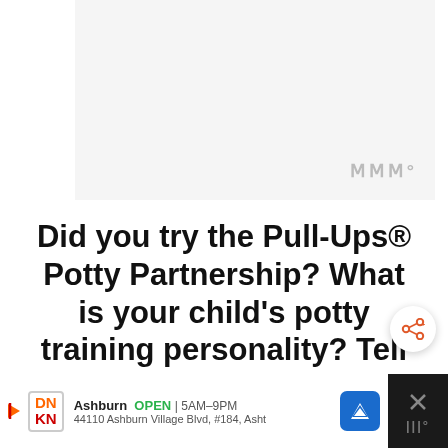[Figure (other): Gray placeholder advertisement box with a watermark icon in the bottom-right corner]
Did you try the Pull-Ups® Potty Partnership? What is your child's potty training personality? Tell us in the comments!
[Figure (other): Share button (circular white button with share/network icon in orange)]
[Figure (other): Bottom advertisement bar: Dunkin' Donuts ad showing Ashburn location, OPEN 5AM-9PM, address 44110 Ashburn Village Blvd, #184, Asht, with navigation arrow button]